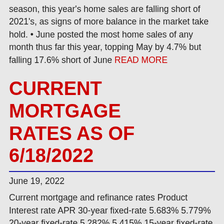season, this year's home sales are falling short of 2021's, as signs of more balance in the market take hold. • June posted the most home sales of any month thus far this year, topping May by 4.7% but falling 17.6% short of June READ MORE
CURRENT MORTGAGE RATES AS OF 6/18/2022
June 19, 2022
Current mortgage and refinance rates Product Interest rate APR 30-year fixed-rate 5.683% 5.779% 20-year fixed-rate 5.282% 5.415% 15-year fixed-rate 4.674% 4.854% 10-year fixed-rate 4.645% 4.882% 7-year ARM 5.259% 4.629% 5-year ARM 4.868% 4.281% 3-year ARM 3.340% 3.371% 30-year